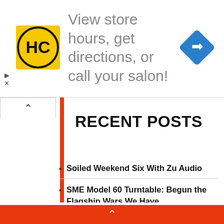[Figure (infographic): Advertisement banner with HC (Hairclub) yellow logo on left, navigation/directions blue diamond icon on right, gray text: 'View store hours, get directions, or call your salon!']
RECENT POSTS
Soiled Weekend Six With Zu Audio
SME Model 60 Turntable: Begun the Flagship Wars We Have
Musk Will Seek out Proof from Twitter's Previous Item Main as He Seems to Exit His Takeover Deal